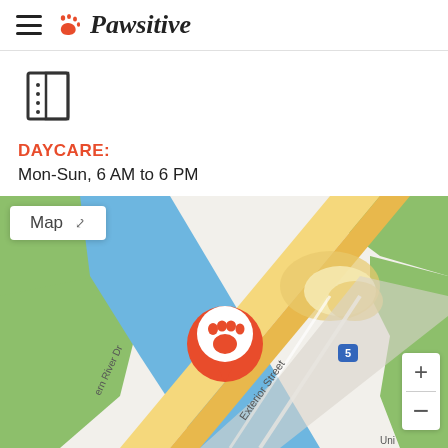Pawsitive
[Figure (other): Notebook/list icon]
DAYCARE:
Mon-Sun, 6 AM to 6 PM
[Figure (map): Map view showing location marker with paw print icon at road intersection near river. Zoom controls visible. Map tab button showing 'Map'. Streets visible: Exterior Street, Western River Dr, Uni... (University), Bridge, Westcliff Ave. Interstate 5 visible.]